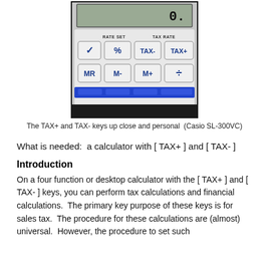[Figure (photo): Close-up photograph of a Casio SL-300VC calculator showing TAX+ and TAX- keys, along with RATE SET and TAX RATE labels, %, MR, M-, M+, and division keys]
The TAX+ and TAX- keys up close and personal  (Casio SL-300VC)
What is needed:  a calculator with [ TAX+ ] and [ TAX- ]
Introduction
On a four function or desktop calculator with the [ TAX+ ] and [ TAX- ] keys, you can perform tax calculations and financial calculations.  The primary key purpose of these keys is for sales tax.  The procedure for these calculations are (almost) universal.  However, the procedure to set such